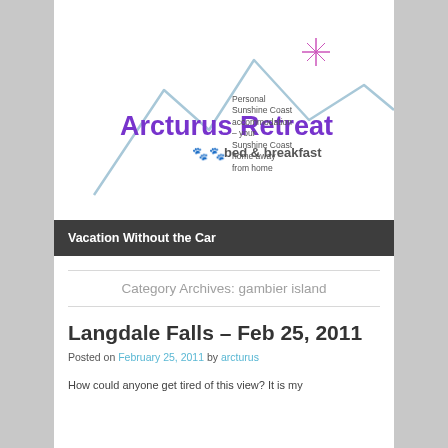[Figure (logo): Arcturus Retreat bed & breakfast logo with mountain silhouette line art and a purple star/sparkle, purple text reading 'Arcturus Retreat' and 'bed & breakfast' with paw print icons]
Personal Sunshine Coast accommodation – your Sunshine Coast home away from home
Vacation Without the Car
Category Archives: gambier island
Langdale Falls – Feb 25, 2011
Posted on February 25, 2011 by arcturus
How could anyone get tired of this view? It is my